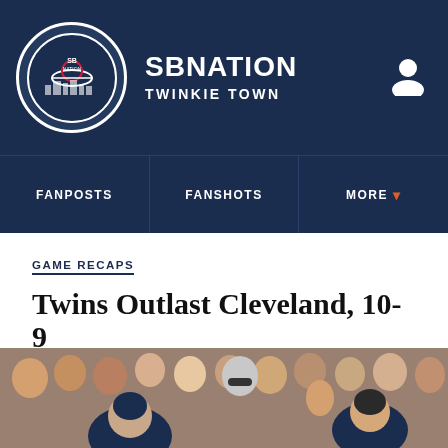SB NATION — TWINKIE TOWN
GAME RECAPS
Twins Outlast Cleveland, 10-9
This game. This game.
By RandBall's Stu | Aug 7, 2015, 10:48pm EDT
[Figure (other): Social share icons: Facebook, Twitter, and generic share button with SHARE label]
[Figure (photo): Baseball crowd and players at a game, bottom strip of the page]